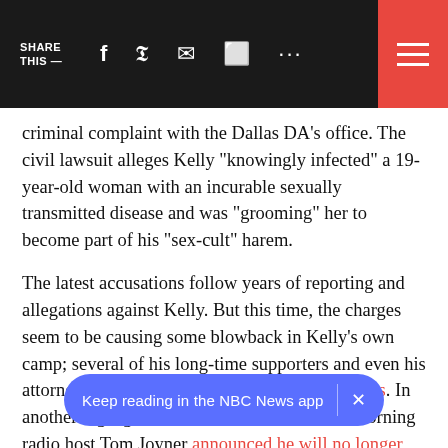SHARE THIS — [social icons: Facebook, Twitter, Email, Chat, More] [hamburger menu]
criminal complaint with the Dallas DA’s office. The civil lawsuit alleges Kelly “knowingly infected” a 19-year-old woman with an incurable sexually transmitted disease and was “grooming” her to become part of his “sex-cult” harem.
The latest accusations follow years of reporting and allegations against Kelly. But this time, the charges seem to be causing some blowback in Kelly’s own camp; several of his long-time supporters and even his attorney have deserted him in the past few weeks. In another big sign of real backlash, influential morning radio host Tom Joyner announced he will no longer play Kelly’s music. (Through a spokesman, Kelly “categorically” denied the lates… on Post).
Keep reading in the NBC News app ×